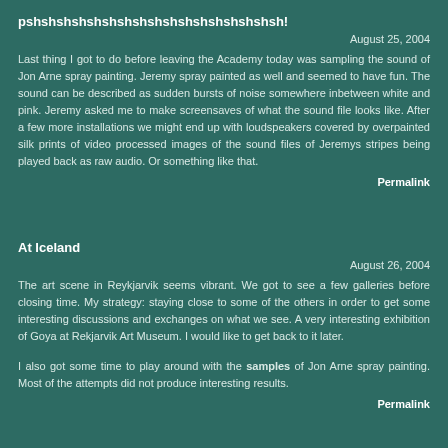pshshshshshshshshshshshshshshshshsh!
August 25, 2004
Last thing I got to do before leaving the Academy today was sampling the sound of Jon Arne spray painting. Jeremy spray painted as well and seemed to have fun. The sound can be described as sudden bursts of noise somewhere inbetween white and pink. Jeremy asked me to make screensaves of what the sound file looks like. After a few more installations we might end up with loudspeakers covered by overpainted silk prints of video processed images of the sound files of Jeremys stripes being played back as raw audio. Or something like that.
Permalink
At Iceland
August 26, 2004
The art scene in Reykjarvik seems vibrant. We got to see a few galleries before closing time. My strategy: staying close to some of the others in order to get some interesting discussions and exchanges on what we see. A very interesting exhibition of Goya at Rekjarvik Art Museum. I would like to get back to it later.
I also got some time to play around with the samples of Jon Arne spray painting. Most of the attempts did not produce interesting results.
Permalink